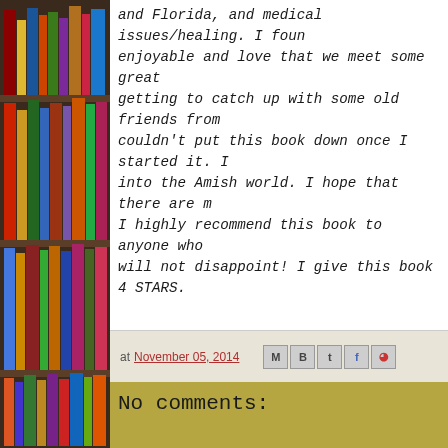[Figure (photo): Bookshelf with colorful books on the left side of the page]
and Florida, and medical issues/healing. I found enjoyable and love that we meet some great getting to catch up with some old friends from couldn't put this book down once I started it. I into the Amish world. I hope that there are m I highly recommend this book to anyone who will not disappoint! I give this book 4 STARS.
at November 05, 2014
No comments:
Post a Comment
Enter Comment